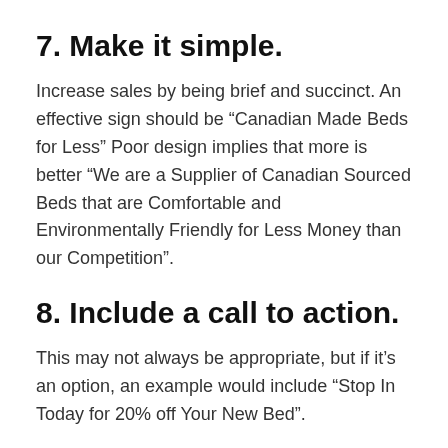7. Make it simple.
Increase sales by being brief and succinct. An effective sign should be “Canadian Made Beds for Less” Poor design implies that more is better “We are a Supplier of Canadian Sourced Beds that are Comfortable and Environmentally Friendly for Less Money than our Competition”.
8. Include a call to action.
This may not always be appropriate, but if it’s an option, an example would include “Stop In Today for 20% off Your New Bed”.
9. Make use of images.
Do you sell ice cream? Include a simple image of an Ice cream cone.